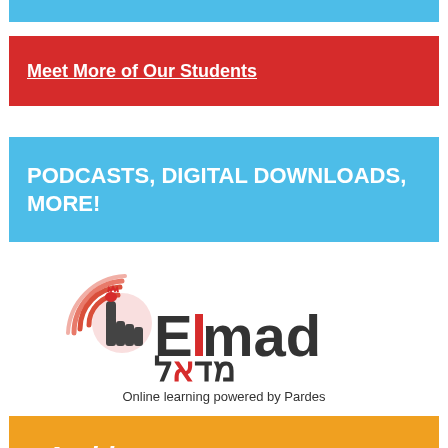[Figure (other): Thin horizontal blue bar at top]
Meet More of Our Students
PODCASTS, DIGITAL DOWNLOADS, MORE!
[Figure (logo): Elmad (אלמד) logo - Online learning powered by Pardes. Features a pointing hand icon with pomegranate signal waves, 'Elmad' text in dark/red, Hebrew text below, and tagline 'Online learning powered by Pardes']
Archives